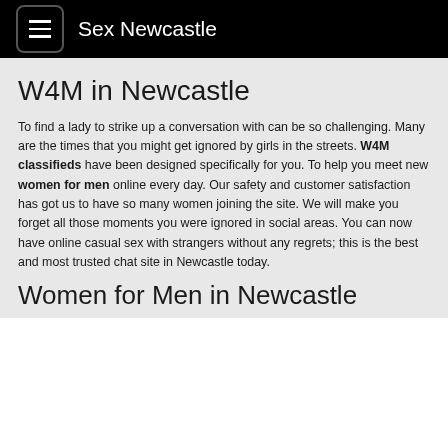Sex Newcastle
W4M in Newcastle
To find a lady to strike up a conversation with can be so challenging. Many are the times that you might get ignored by girls in the streets. W4M classifieds have been designed specifically for you. To help you meet new women for men online every day. Our safety and customer satisfaction has got us to have so many women joining the site. We will make you forget all those moments you were ignored in social areas. You can now have online casual sex with strangers without any regrets; this is the best and most trusted chat site in Newcastle today.
Women for Men in Newcastle